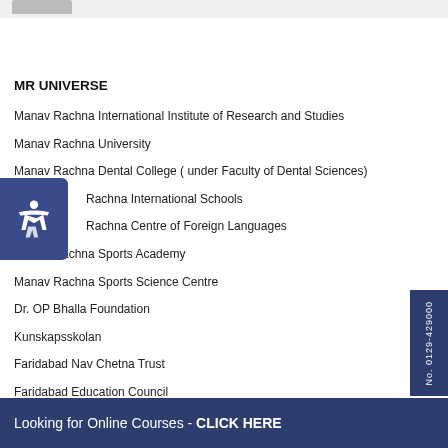MR UNIVERSE
Manav Rachna International Institute of Research and Studies
Manav Rachna University
Manav Rachna Dental College ( under Faculty of Dental Sciences)
Manav Rachna International Schools
Manav Rachna Centre of Foreign Languages
Manav Rachna Sports Academy
Manav Rachna Sports Science Centre
Dr. OP Bhalla Foundation
Kunskapsskolan
Faridabad Nav Chetna Trust
Faridabad Education Council
Looking for Online Courses - CLICK HERE
No. 0129-429000